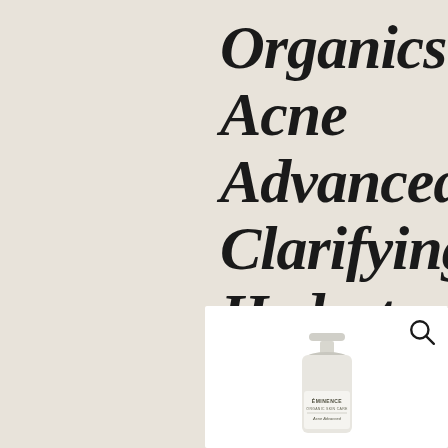Organics Acne Advanced Clarifying Hydrator
[Figure (photo): Product photo of Eminence Organics Acne Advanced Clarifying Hydrator skincare bottle with pump dispenser on white background, with a magnifying glass search icon in the top right corner.]